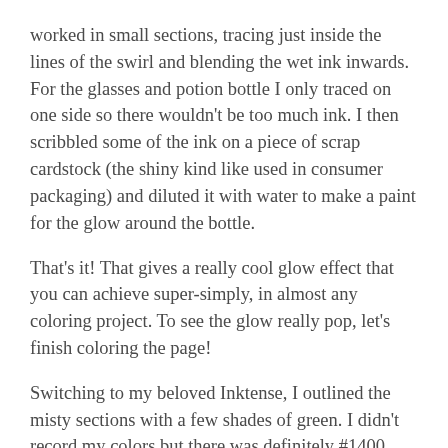worked in small sections, tracing just inside the lines of the swirl and blending the wet ink inwards. For the glasses and potion bottle I only traced on one side so there wouldn't be too much ink. I then scribbled some of the ink on a piece of scrap cardstock (the shiny kind like used in consumer packaging) and diluted it with water to make a paint for the glow around the bottle.
That's it! That gives a really cool glow effect that you can achieve super-simply, in almost any coloring project. To see the glow really pop, let's finish coloring the page!
Switching to my beloved Inktense, I outlined the misty sections with a few shades of green. I didn't record my colors but there was definitely #1400 (Apple Green) and I believe some #1520 (Hooker's Green). If you look in the mist closest to the llama, you can also see some #0100 (Sherbet Lemon) to amplify the glow and pull the yellows into the mist.